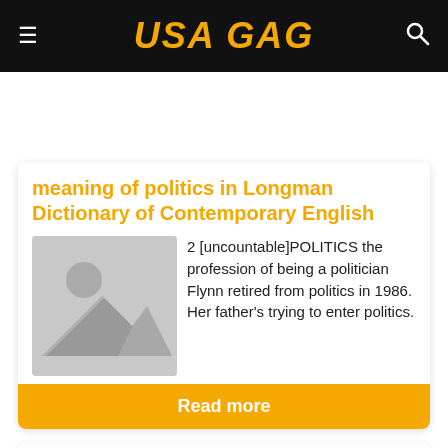USA GAG
meaning of politics in Longman Dictionary of Contemporary English
2 [uncountable]POLITICS the profession of being a politician Flynn retired from politics in 1986. Her father's trying to enter politics.
Read more
politics noun - Definition, pictures,